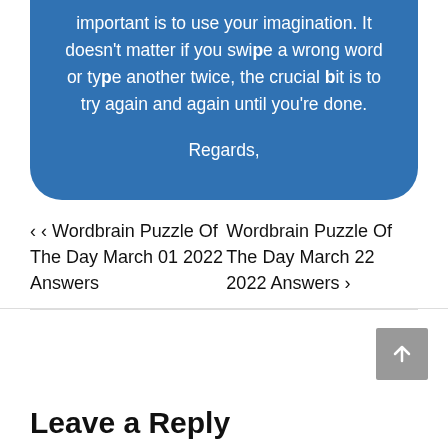important is to use your imagination. It doesn't matter if you swipe a wrong word or type another twice, the crucial bit is to try again and again until you're done.

Regards,
‹ ‹ Wordbrain Puzzle Of The Day March 01 2022 Answers
Wordbrain Puzzle Of The Day March 22 2022 Answers ›
Leave a Reply